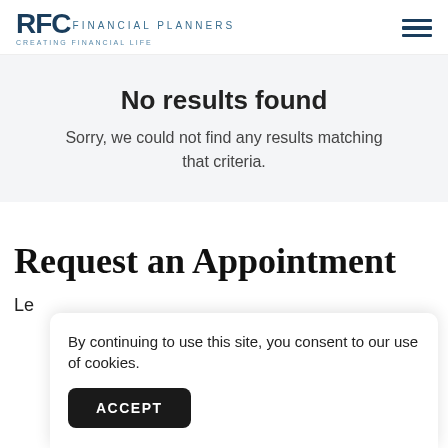RFC FINANCIAL PLANNERS
No results found
Sorry, we could not find any results matching that criteria.
Request an Appointment
By continuing to use this site, you consent to our use of cookies.
ACCEPT